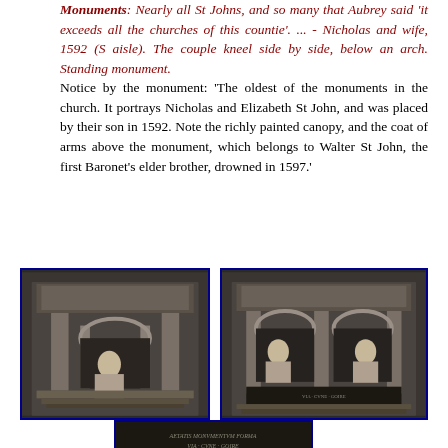Monuments: Nearly all St Johns, and so many that Aubrey said 'it exceeds all the churches of this countie'. ... - Nicholas and wife, 1592 (S aisle). The couple kneel side by side, below an arch. Standing monument.
Notice by the monument: 'The oldest of the monuments in the church. It portrays Nicholas and Elizabeth St John, and was placed by their son in 1592. Note the richly painted canopy, and the coat of arms above the monument, which belongs to Walter St John, the first Baronet's elder brother, drowned in 1597.'
[Figure (photo): Photograph of a standing church monument showing a kneeling figure beneath an architectural arch with columns, stone carved monument]
[Figure (photo): Photograph of the same monument from a different angle showing two kneeling figures (Nicholas and Elizabeth St John) beneath arches]
[Figure (photo): Close-up photograph of an inscription plaque on the monument with Latin text]